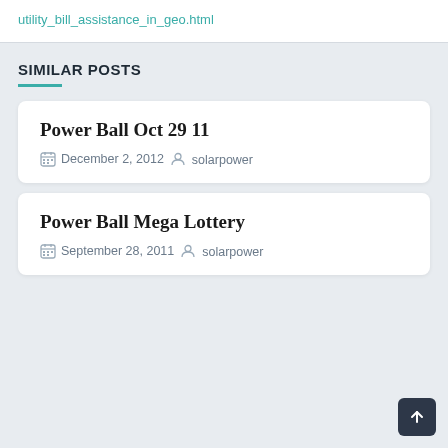utility_bill_assistance_in_geo.html
SIMILAR POSTS
Power Ball Oct 29 11
December 2, 2012   solarpower
Power Ball Mega Lottery
September 28, 2011   solarpower